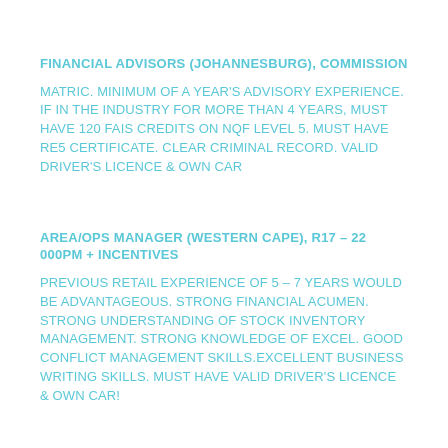FINANCIAL ADVISORS (JOHANNESBURG), COMMISSION
MATRIC. MINIMUM OF A YEAR'S ADVISORY EXPERIENCE. IF IN THE INDUSTRY FOR MORE THAN 4 YEARS, MUST HAVE 120 FAIS CREDITS ON NQF LEVEL 5. MUST HAVE RE5 CERTIFICATE. CLEAR CRIMINAL RECORD. VALID DRIVER'S LICENCE & OWN CAR
AREA/OPS MANAGER (WESTERN CAPE), R17 – 22 000PM + INCENTIVES
PREVIOUS RETAIL EXPERIENCE OF 5 – 7 YEARS WOULD BE ADVANTAGEOUS. STRONG FINANCIAL ACUMEN. STRONG UNDERSTANDING OF STOCK INVENTORY MANAGEMENT. STRONG KNOWLEDGE OF EXCEL. GOOD CONFLICT MANAGEMENT SKILLS.EXCELLENT BUSINESS WRITING SKILLS. MUST HAVE VALID DRIVER'S LICENCE & OWN CAR!